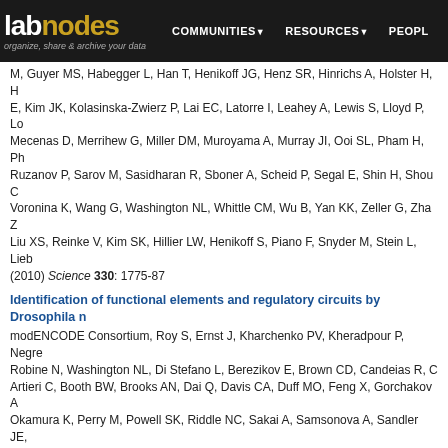labnodes — organize, share & archive your data | COMMUNITIES | RESOURCES | PEOPLE
M, Guyer MS, Habegger L, Han T, Henikoff JG, Henz SR, Hinrichs A, Holster H, E, Kim JK, Kolasinska-Zwierz P, Lai EC, Latorre I, Leahey A, Lewis S, Lloyd P, Lo Mecenas D, Merrihew G, Miller DM, Muroyama A, Murray JI, Ooi SL, Pham H, Ph Ruzanov P, Sarov M, Sasidharan R, Sboner A, Scheid P, Segal E, Shin H, Shou Voronina K, Wang G, Washington NL, Whittle CM, Wu B, Yan KK, Zeller G, Zha Z, Liu XS, Reinke V, Kim SK, Hillier LW, Henikoff S, Piano F, Snyder M, Stein L, Lieb (2010) Science 330: 1775-87
Identification of functional elements and regulatory circuits by Drosophila m modENCODE Consortium, Roy S, Ernst J, Kharchenko PV, Kheradpour P, Negre Robine N, Washington NL, Di Stefano L, Berezikov E, Brown CD, Candeias R, C Artieri C, Booth BW, Brooks AN, Dai Q, Davis CA, Duff MO, Feng X, Gorchakov A Okamura K, Perry M, Powell SK, Riddle NC, Sakai A, Samsonova A, Sandler JE, Good P, Guyer M, Lowdon R, Ahmad K, Andrews J, Berger B, Brenner SE, Brent Kuroda MI, Orr-Weaver T, Perrimon N, Pirrotta V, Posakony JW, Ren B, Russell S Karpen GH, Lai EC, MacAlpine DM, Stein LD, White KP, Kellis M (2010) Science 330: 1787-97
Single-cell analysis reveals that noncoding RNAs contribute to clonal heter Bumgarner SL, Neuert G, Voight BF, Symbor-Nagrabska A, Grisafi P, van Ouden (2012) Mol Cell 45: 470-82
De novo DNA demethylation and noncoding transcription define active inte Schlesinger F, Smith AD, Gingeras TR, Hannon GJ, Hodges E